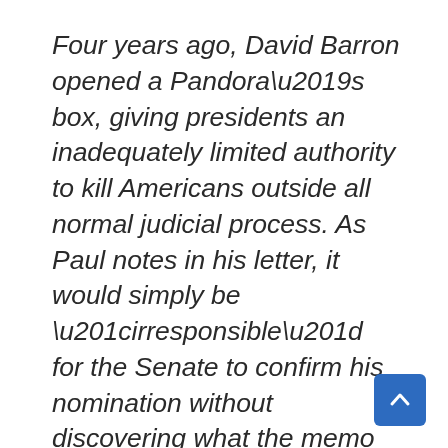Four years ago, David Barron opened a Pandora’s box, giving presidents an inadequately limited authority to kill Americans outside all normal judicial process. As Paul notes in his letter, it would simply be “irresponsible” for the Senate to confirm his nomination without discovering what the memo could reveal about his views on due process, civil liberties, and international law. In a letter to all